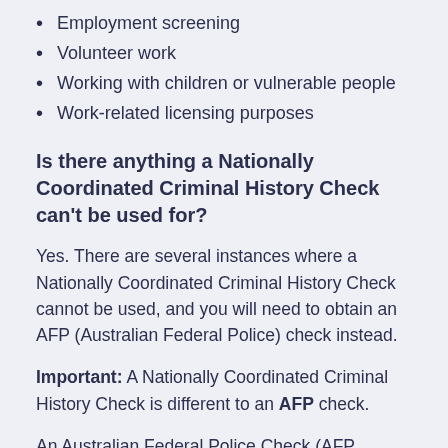Employment screening
Volunteer work
Working with children or vulnerable people
Work-related licensing purposes
Is there anything a Nationally Coordinated Criminal History Check can't be used for?
Yes. There are several instances where a Nationally Coordinated Criminal History Check cannot be used, and you will need to obtain an AFP (Australian Federal Police) check instead.
Important: A Nationally Coordinated Criminal History Check is different to an AFP check.
An Australian Federal Police Check (AFP Check) can only be used for:
Residents of ACT, Jervis Bay Territory and